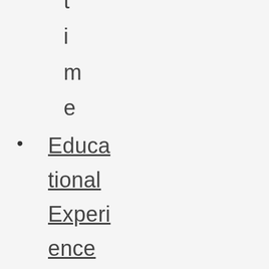time
Educational Experience Category (optional)
Select